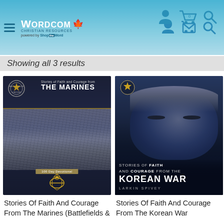Wordcom Christian Resources - powered by ShopTheWord
Showing all 3 results
[Figure (photo): Book cover: Stories of Faith and Courage from The Marines - 100 Day Devotional, dark navy cover with marines in formation]
[Figure (photo): Book cover: Stories of Faith and Courage from the Korean War by Larkin Spivey, blue-toned close-up of soldier in helmet]
Stories Of Faith And Courage From The Marines (Battlefields &
Stories Of Faith And Courage From The Korean War